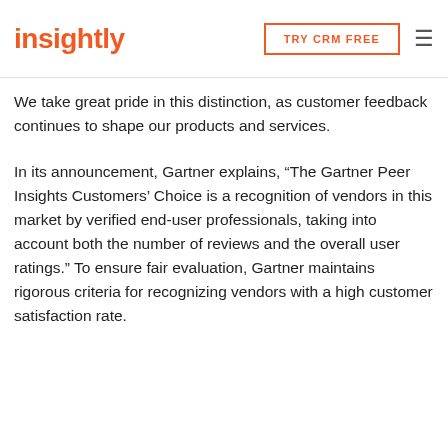Insightly | TRY CRM FREE
We take great pride in this distinction, as customer feedback continues to shape our products and services.
In its announcement, Gartner explains, “The Gartner Peer Insights Customers’ Choice is a recognition of vendors in this market by verified end-user professionals, taking into account both the number of reviews and the overall user ratings.” To ensure fair evaluation, Gartner maintains rigorous criteria for recognizing vendors with a high customer satisfaction rate.